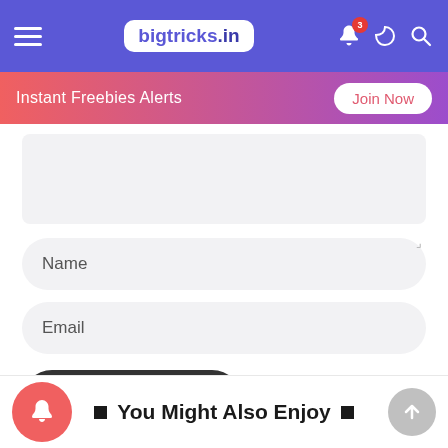bigtricks.in
Instant Freebies Alerts — Join Now
Name
Email
Post Comment
You Might Also Enjoy